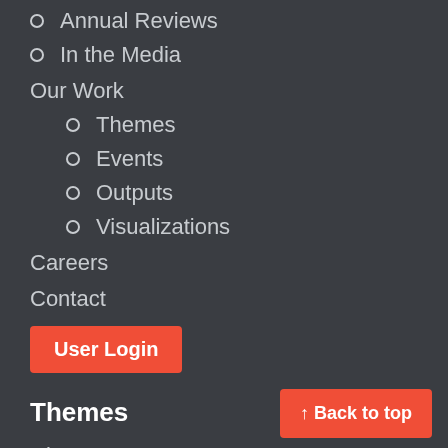Annual Reviews
In the Media
Our Work
Themes
Events
Outputs
Visualizations
Careers
Contact
User Login
Themes
Disasters
Inclusive Agriculture
Capacity Building
Data, Algorithms and Policy
Education
↑ Back to top